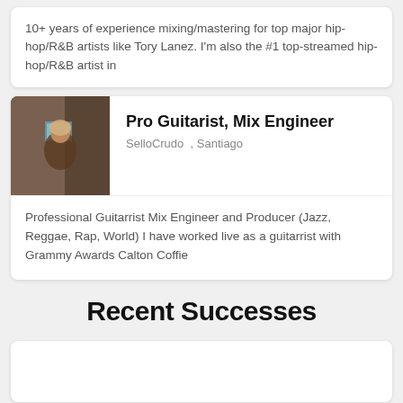10+ years of experience mixing/mastering for top major hip-hop/R&B artists like Tory Lanez. I'm also the #1 top-streamed hip-hop/R&B artist in
Pro Guitarist, Mix Engineer
SelloCrudo , Santiago
Professional Guitarrist Mix Engineer and Producer (Jazz, Reggae, Rap, World) I have worked live as a guitarrist with Grammy Awards Calton Coffie
Recent Successes